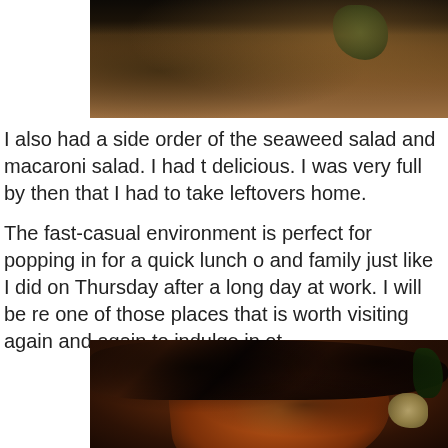[Figure (photo): Close-up photo of food (possibly grilled meat or salad) on a wooden surface, partially cropped at top of page]
I also had a side order of the seaweed salad and macaroni salad. I had t delicious. I was very full by then that I had to take leftovers home.
The fast-casual environment is perfect for popping in for a quick lunch o and family just like I did on Thursday after a long day at work. I will be re one of those places that is worth visiting again and again to indulge in ot
[Figure (photo): Close-up photo of grilled or charred meat (possibly BBQ chicken) with black charring, garlic cloves visible in bottom right, green garnish at top right]